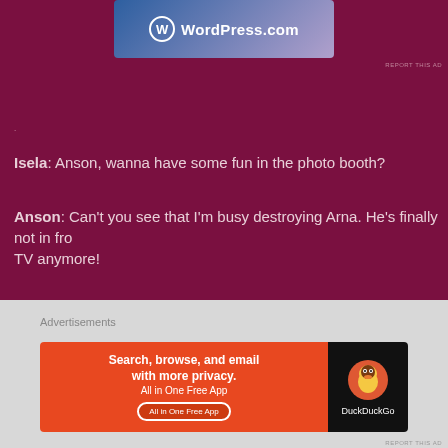[Figure (screenshot): WordPress.com advertisement banner at top]
REPORT THIS AD
·
Isela: Anson, wanna have some fun in the photo booth?
Anson: Can't you see that I'm busy destroying Arna. He's finally not in front of the TV anymore!
·
Advertisements
[Figure (screenshot): DuckDuckGo advertisement: Search, browse, and email with more privacy. All in One Free App]
REPORT THIS AD